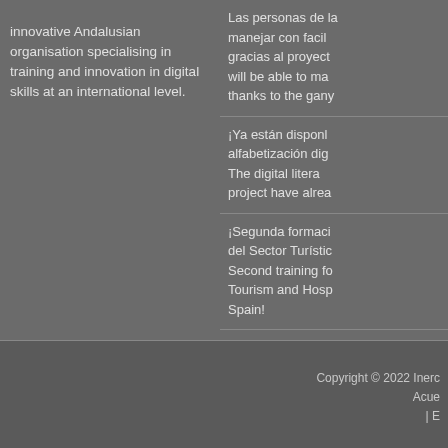innovative Andalusian organisation specialising in training and innovation in digital skills at an international level.
Las personas de la... manejar con facil... gracias al proyect... will be able to ma... thanks to the gany...
¡Ya están disponl... alfabetización dig... The digital litera... project have alrea...
¡Segunda formaci... del Sector Turístic... Second training fo... Tourism and Hosp... Spain!
Copyright © 2022 Inerc... Acue... | E...